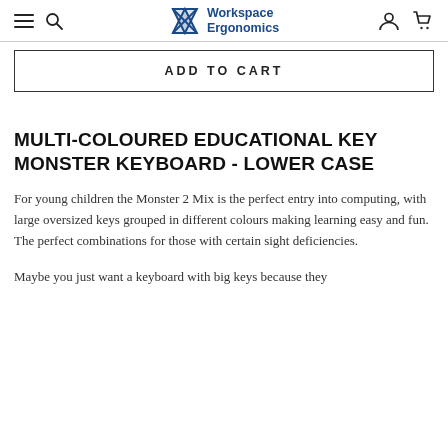Workspace Ergonomics
ADD TO CART
MULTI-COLOURED EDUCATIONAL KEY MONSTER KEYBOARD - LOWER CASE
For young children the Monster 2 Mix is the perfect entry into computing, with large oversized keys grouped in different colours making learning easy and fun.  The perfect combinations for those with certain sight deficiencies.
Maybe you just want a keyboard with big keys because they